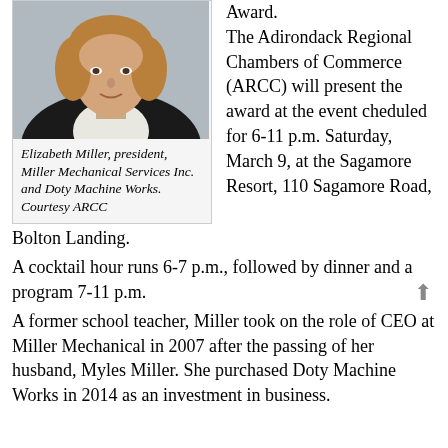[Figure (photo): Headshot of Elizabeth Miller, a woman with blonde hair wearing a black blazer and white top, photographed against a neutral background.]
Elizabeth Miller, president, Miller Mechanical Services Inc. and Doty Machine Works. Courtesy ARCC
Award. The Adirondack Regional Chambers of Commerce (ARCC) will present the award at the event cheduled for 6-11 p.m. Saturday, March 9, at the Sagamore Resort, 110 Sagamore Road, Bolton Landing.
A cocktail hour runs 6-7 p.m., followed by dinner and a program 7-11 p.m.
A former school teacher, Miller took on the role of CEO at Miller Mechanical in 2007 after the passing of her husband, Myles Miller. She purchased Doty Machine Works in 2014 as an investment in business.